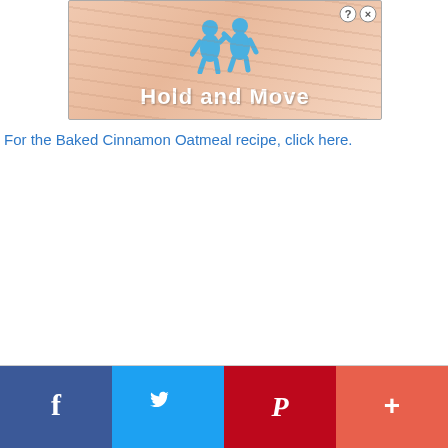[Figure (screenshot): Advertisement banner showing 'Hold and Move' with blue cartoon figures and a game-like wooden background, with question mark and close (X) button in top right corner]
For the Baked Cinnamon Oatmeal recipe, click here.
[Figure (infographic): Social sharing bar with four buttons: Facebook (blue, f icon), Twitter (light blue, bird icon), Pinterest (red, P icon), and More/Plus (coral/red-orange, + icon)]